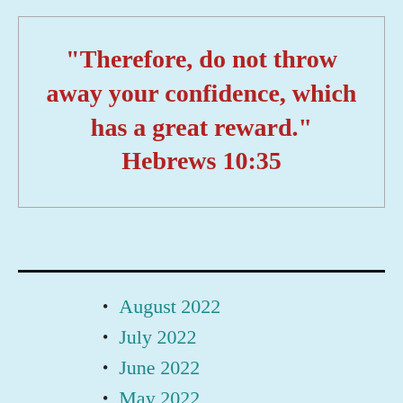"Therefore, do not throw away your confidence, which has a great reward." Hebrews 10:35
August 2022
July 2022
June 2022
May 2022
April 2022
March 2022